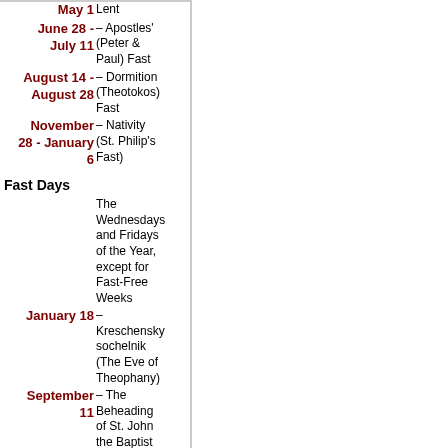May 1 Lent
June 28 - July 11 – Apostles' (Peter & Paul) Fast
August 14 - August 28 – Dormition (Theotokos) Fast
November 28 - January 6 – Nativity (St. Philip's Fast)
Fast Days
The Wednesdays and Fridays of the Year, except for Fast-Free Weeks
January 18 – Kreschensky sochelnik (The Eve of Theophany)
September 11 – The Beheading of St. John the Baptist
September 27 – The Elevation of the Cross